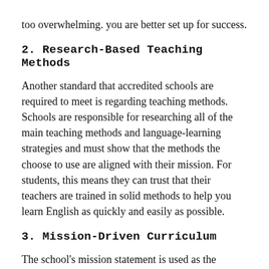too overwhelming. you are better set up for success.
2. Research-Based Teaching Methods
Another standard that accredited schools are required to meet is regarding teaching methods. Schools are responsible for researching all of the main teaching methods and language-learning strategies and must show that the methods the choose to use are aligned with their mission. For students, this means they can trust that their teachers are trained in solid methods to help you learn English as quickly and easily as possible.
3. Mission-Driven Curriculum
The school's mission statement is used as the driving force when planning all curriculum.